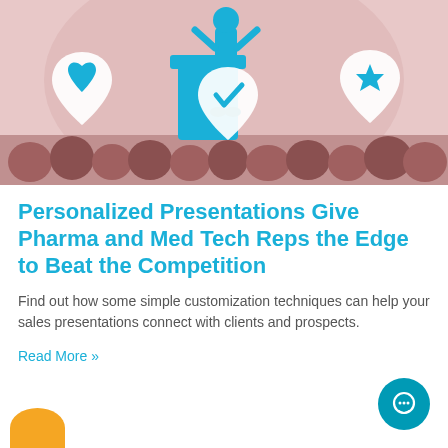[Figure (illustration): Illustration of a person standing at a podium/lectern on a stage with silhouettes of audience members below. Map pin icons with heart, checkmark, and star symbols float in the background on a pink/mauve background.]
Personalized Presentations Give Pharma and Med Tech Reps the Edge to Beat the Competition
Find out how some simple customization techniques can help your sales presentations connect with clients and prospects.
Read More »